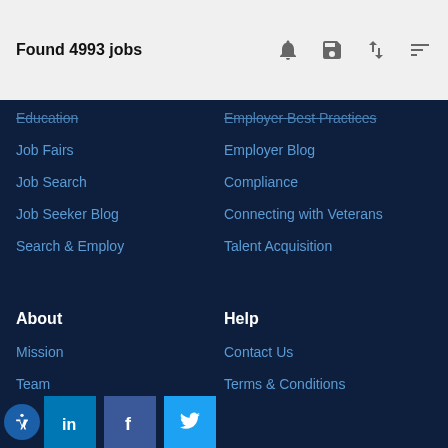Found 4993 jobs
Education
Job Fairs
Job Search
Job Seeker Blog
Search & Employ
Employer Best Practices
Employer Blog
Compliance
Connecting with Veterans
Talent Acquisition
About
Mission
Team
Partners
In the News
Help
Contact Us
Terms & Conditions
Privacy Policy
California Collection Notice
Do Not Sell My Personal Information
SMS Terms of Service